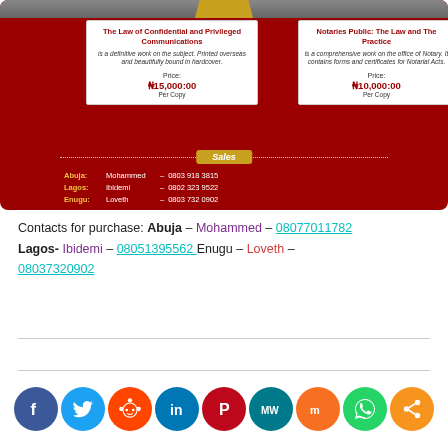[Figure (infographic): Red advertisement box for two legal books with sales contact information. Left card: 'The Law of Confidential and Privileged Communications' priced at ₦15,000:00 Per Copy. Right card: 'Notaries Public: The Law and The Practice' priced at ₦10,000:00 Per Copy. Bottom section lists sales contacts for Abuja (Mohammed 0803 918 3815), Lagos (Ibidemi 0802 323 9522), Enugu (Loveth 0803 732 0902).]
Contacts for purchase: Abuja – Mohammed – 08077011782 Lagos- Ibidemi – 08051395562 Enugu – Loveth – 08037320902
[Figure (infographic): Social media share icons row: Facebook, Twitter, Reddit, LinkedIn, Pinterest, MW, Mix, WhatsApp, Share]